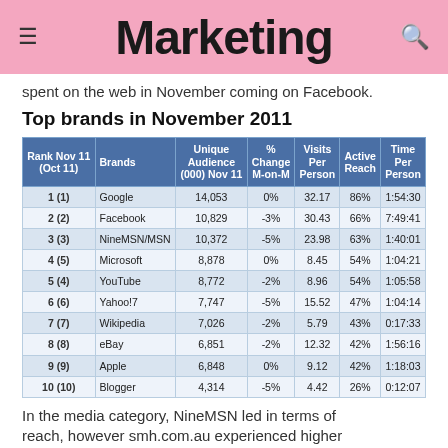Marketing
spent on the web in November coming on Facebook.
Top brands in November 2011
| Rank Nov 11 (Oct 11) | Brands | Unique Audience (000) Nov 11 | % Change M-on-M | Visits Per Person | Active Reach | Time Per Person |
| --- | --- | --- | --- | --- | --- | --- |
| 1 (1) | Google | 14,053 | 0% | 32.17 | 86% | 1:54:30 |
| 2 (2) | Facebook | 10,829 | -3% | 30.43 | 66% | 7:49:41 |
| 3 (3) | NineMSN/MSN | 10,372 | -5% | 23.98 | 63% | 1:40:01 |
| 4 (5) | Microsoft | 8,878 | 0% | 8.45 | 54% | 1:04:21 |
| 5 (4) | YouTube | 8,772 | -2% | 8.96 | 54% | 1:05:58 |
| 6 (6) | Yahoo!7 | 7,747 | -5% | 15.52 | 47% | 1:04:14 |
| 7 (7) | Wikipedia | 7,026 | -2% | 5.79 | 43% | 0:17:33 |
| 8 (8) | eBay | 6,851 | -2% | 12.32 | 42% | 1:56:16 |
| 9 (9) | Apple | 6,848 | 0% | 9.12 | 42% | 1:18:03 |
| 10 (10) | Blogger | 4,314 | -5% | 4.42 | 26% | 0:12:07 |
In the media category, NineMSN led in terms of reach, however smh.com.au experienced higher